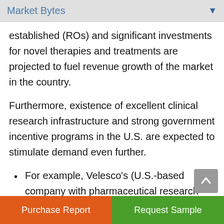Market Bytes
established (ROs) and significant investments for novel therapies and treatments are projected to fuel revenue growth of the market in the country.
Furthermore, existence of excellent clinical research infrastructure and strong government incentive programs in the U.S. are expected to stimulate demand even further.
For example, Velesco's (U.S.-based company with pharmaceutical research and development expertise) pharmaceutical development c…
Purchase Report | Request Sample